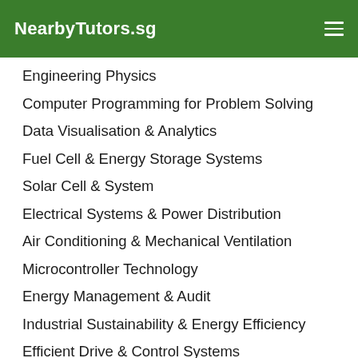NearbyTutors.sg
Engineering Physics
Computer Programming for Problem Solving
Data Visualisation & Analytics
Fuel Cell & Energy Storage Systems
Solar Cell & System
Electrical Systems & Power Distribution
Air Conditioning & Mechanical Ventilation
Microcontroller Technology
Energy Management & Audit
Industrial Sustainability & Energy Efficiency
Efficient Drive & Control Systems
Electrical Diagnostics & System Integration
Financial Business Informatics
Basic Business Finance
IT Systems Security Essentials
Database Application Development
Logic & Mathematics